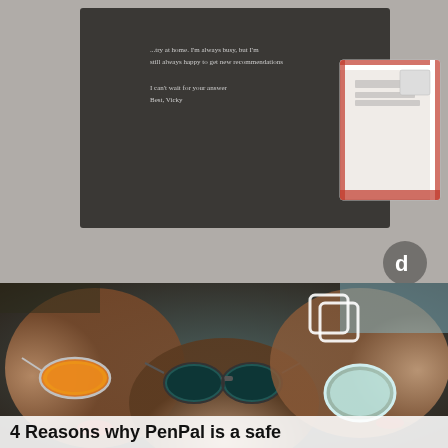[Figure (photo): TikTok screenshot showing handwritten letter and red-striped envelope on a textured surface, with TikTok logo in bottom-right corner.]
[Figure (photo): Photo of three young women lying down in a circle, each wearing distinctive sunglasses — orange tinted, dark teal cat-eye, and white round. A copy/layers icon appears in the top-right corner.]
4 Reasons why PenPal is a safe